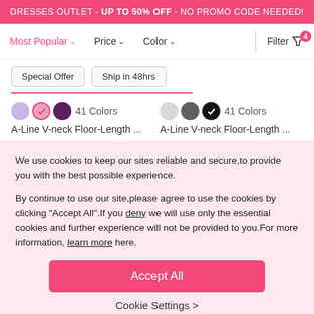DRESSES OUTLET - UP TO 50% OFF - NO PROMO CODE NEEDED!
Most Popular  Price  Color  Filter 4
Special Offer   Ship in 48hrs
41 Colors   A-Line V-neck Floor-Length ...   41 Colors   A-Line V-neck Floor-Length ...
We use cookies to keep our sites reliable and secure,to provide you with the best possible experience.

By continue to use our site,please agree to use the cookies by clicking "Accept All".If you deny we will use only the essential cookies and further experience will not be provided to you.For more information, learn more here.
Accept All
Cookie Settings >